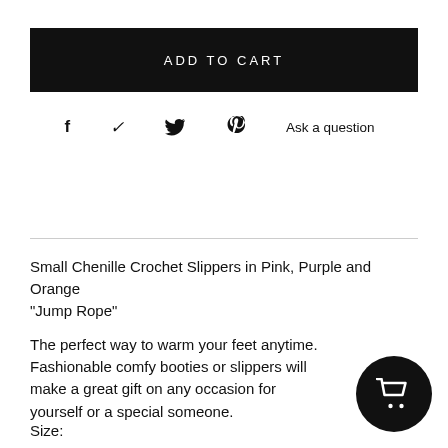ADD TO CART
Ask a question
Small Chenille Crochet Slippers in Pink, Purple and Orange "Jump Rope"
The perfect way to warm your feet anytime. Fashionable comfy booties or slippers will make a great gift on any occasion for yourself or a special someone.
Size: